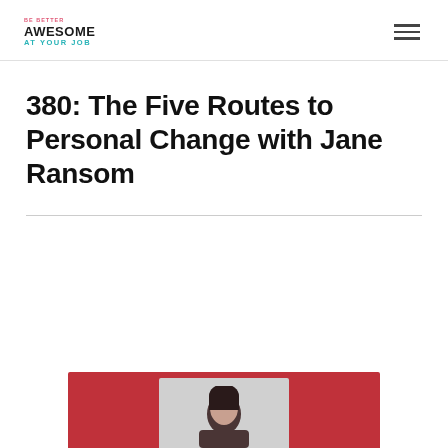BE BETTER | AWESOME AT YOUR JOB
380: The Five Routes to Personal Change with Jane Ransom
[Figure (photo): Photo of Jane Ransom with dark hair against a red background]